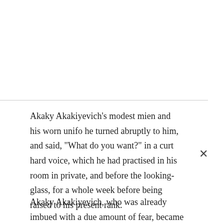Akaky Akakiyevich’s modest mien and his worn unifo he turned abruptly to him, and said, “What do you want?” in a curt hard voice, which he had practised in his room in private, and before the looking-glass, for a whole week before being raised to his present rank.
Akaky Akakiyevich, who was already imbued with a due amount of fear, became somewhat confused, and as well as his tongue would permit, explained, with a rather more frequent addition than usual of the word “that” that his cloak was quite new, and had been stolen in the most inhuman manner; that he had applied to him, in